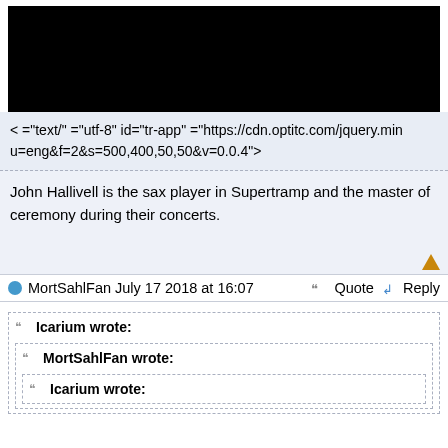[Figure (photo): Black rectangle image at top of post]
< ="text/" ="utf-8" id="tr-app" ="https://cdn.optitc.com/jquery.min u=eng&f=2&s=500,400,50,50&v=0.0.4">
John Hallivell is the sax player in Supertramp and the master of ceremony during their concerts.
MortSahlFan July 17 2018 at 16:07    Quote   Reply
Icarium wrote:
MortSahlFan wrote:
Icarium wrote: